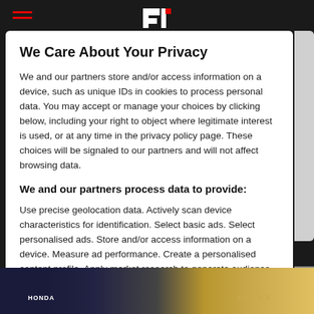We Care About Your Privacy
We and our partners store and/or access information on a device, such as unique IDs in cookies to process personal data. You may accept or manage your choices by clicking below, including your right to object where legitimate interest is used, or at any time in the privacy policy page. These choices will be signaled to our partners and will not affect browsing data.
We and our partners process data to provide:
Use precise geolocation data. Actively scan device characteristics for identification. Select basic ads. Select personalised ads. Store and/or access information on a device. Measure ad performance. Create a personalised content profile. Apply market research to generate audience insights. Develop and improve products. Select personalised content. Measure content performance. Create a personalised ads profile.
List of Partners (vendors)